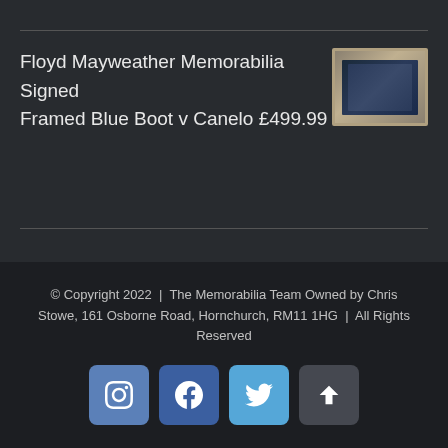Floyd Mayweather Memorabilia Signed Framed Blue Boot v Canelo £499.99
[Figure (photo): Thumbnail image of a framed boxing memorabilia item with gold/silver frame]
© Copyright 2022  |  The Memorabilia Team Owned by Chris Stowe, 161 Osborne Road, Hornchurch, RM11 1HG  |  All Rights Reserved